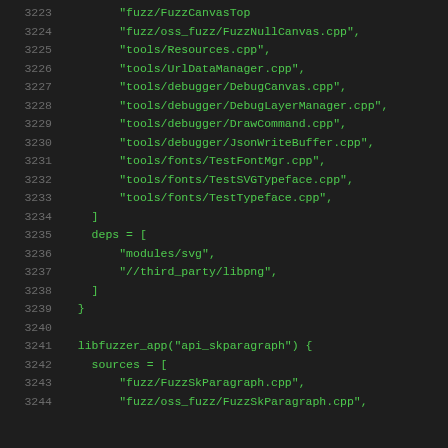Code listing lines 3223-3244 showing build configuration file with source files and dependencies for fuzz testing tools including FuzzNullCanvas, tools/Resources.cpp, UrlDataManager, debugger files, font test files, deps for modules/svg and third_party/libpng, and libfuzzer_app api_skparagraph block with FuzzSkParagraph sources.